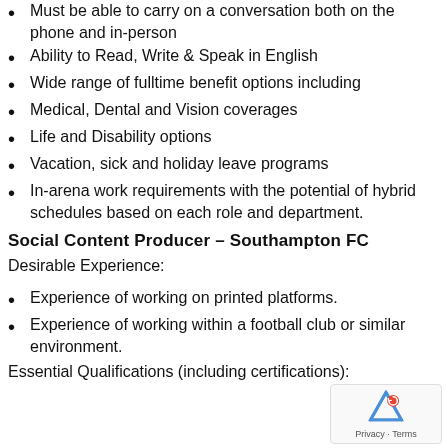Must be able to carry on a conversation both on the phone and in-person
Ability to Read, Write & Speak in English
Wide range of fulltime benefit options including
Medical, Dental and Vision coverages
Life and Disability options
Vacation, sick and holiday leave programs
In-arena work requirements with the potential of hybrid schedules based on each role and department.
Social Content Producer – Southampton FC
Desirable Experience:
Experience of working on printed platforms.
Experience of working within a football club or similar environment.
Essential Qualifications (including certifications):